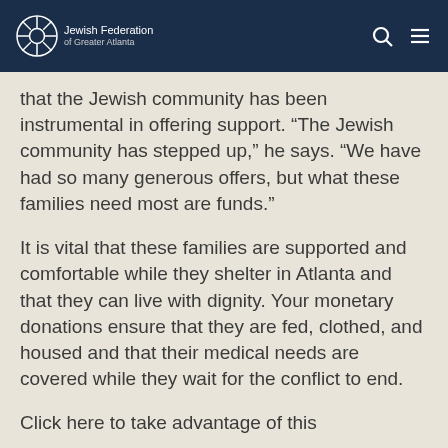Jewish Federation of Greater Atlanta
that the Jewish community has been instrumental in offering support. “The Jewish community has stepped up,” he says. “We have had so many generous offers, but what these families need most are funds.”
It is vital that these families are supported and comfortable while they shelter in Atlanta and that they can live with dignity. Your monetary donations ensure that they are fed, clothed, and housed and that their medical needs are covered while they wait for the conflict to end.
Click here to take advantage of this